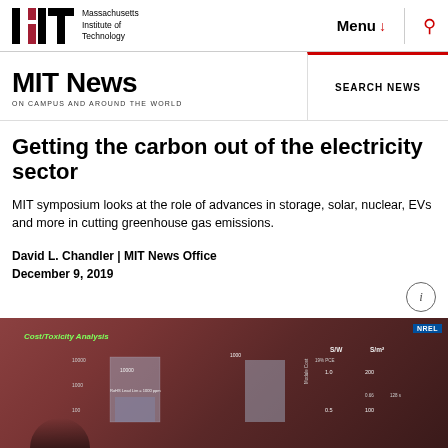Massachusetts Institute of Technology | Menu | Search
MIT News ON CAMPUS AND AROUND THE WORLD
Getting the carbon out of the electricity sector
MIT symposium looks at the role of advances in storage, solar, nuclear, EVs and more in cutting greenhouse gas emissions.
David L. Chandler | MIT News Office
December 9, 2019
[Figure (photo): Photograph of a presenter at a symposium with a slide showing Cost/Toxicity Analysis chart with NREL branding visible in the upper right.]